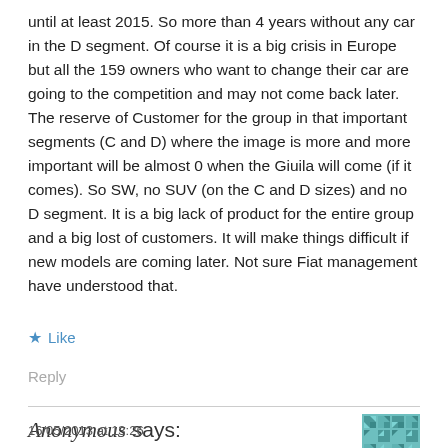until at least 2015. So more than 4 years without any car in the D segment. Of course it is a big crisis in Europe but all the 159 owners who want to change their car are going to the competition and may not come back later. The reserve of Customer for the group in that important segments (C and D) where the image is more and more important will be almost 0 when the Giuila will come (if it comes). So SW, no SUV (on the C and D sizes) and no D segment. It is a big lack of product for the entire group and a big lost of customers. It will make things difficult if new models are coming later. Not sure Fiat management have understood that.
★ Like
Reply
Anonymous says:
16/05/2013 at 13:26
[Figure (illustration): Teal/green geometric quilt-pattern avatar icon in a square tile]